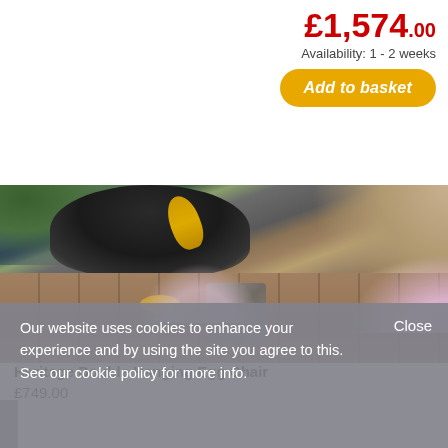£1,574.00
Availability: 1 - 2 weeks
Add to basket
[Figure (photo): Outdoor hanging egg chair with dark cushion on a wooden deck, with water/pond in background and pink flowers, gold fabric accent visible]
Heritage Double Hanging Egg Chair
£749.00
Our website uses cookies to enhance your experience and by using the site you agree to this. See our cookie policy for more info.
Close